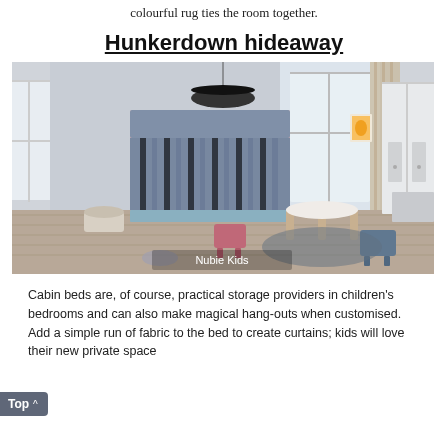colourful rug ties the room together.
Hunkerdown hideaway
[Figure (photo): A children's bedroom featuring a bunk bed with blue curtains on the lower bunk and a fabric-panelled top bunk, a round white table with wooden legs, colourful stools, a wardrobe, and a pendant light. Caption reads: Nubie Kids]
Cabin beds are, of course, practical storage providers in children's bedrooms and can also make magical hang-outs when customised. Add a simple run of fabric to the bed to create curtains; kids will love their new private space